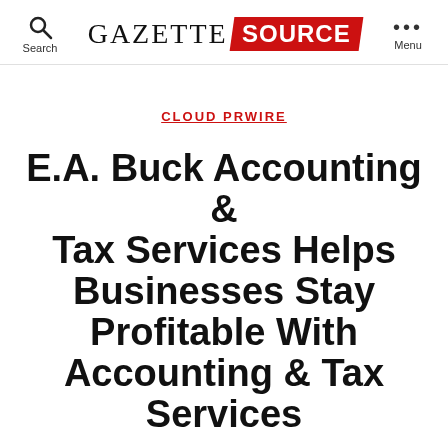GAZETTE SOURCE — Search | Menu
CLOUD PRWIRE
E.A. Buck Accounting & Tax Services Helps Businesses Stay Profitable With Accounting & Tax Services
By Cloud PR Wire   June 22, 2022